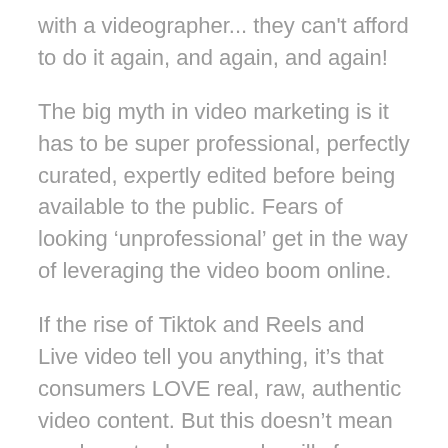with a videographer... they can't afford to do it again, and again, and again!
The big myth in video marketing is it has to be super professional, perfectly curated, expertly edited before being available to the public. Fears of looking ‘unprofessional’ get in the way of leveraging the video boom online.
If the rise of Tiktok and Reels and Live video tell you anything, it’s that consumers LOVE real, raw, authentic video content. But this doesn’t mean you have to dance, make silly faces, or become someone you’re not. All it means is you don’t have to pay someone to create videos to ‘movie’ standard. You simply need to find the right t...